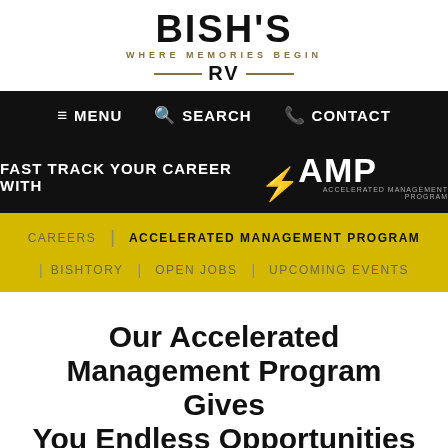[Figure (logo): Bish's RV logo with tagline 'WHERE MEMORIES BEGIN' and decorative lines around 'RV']
≡ MENU   🔍 SEARCH   📞 CONTACT
[Figure (infographic): Black banner reading 'FAST TRACK YOUR CAREER WITH ⚡AMP ACCELERATED MANAGEMENT PROGRAM']
CAREERS | ACCELERATED MANAGEMENT PROGRAM
BISHTORY | OPEN JOBS | UPCOMING EVENTS
Our Accelerated Management Program Gives You Endless Opportunities For Both Personal